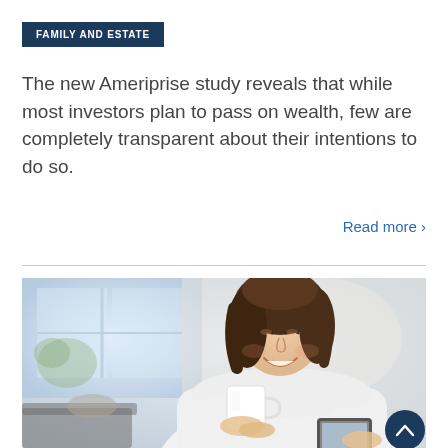FAMILY AND ESTATE
The new Ameriprise study reveals that while most investors plan to pass on wealth, few are completely transparent about their intentions to do so.
Read more ›
[Figure (photo): Smiling woman with dark hair holding a white coffee mug and looking at a tablet device, sitting in a bright living room setting]